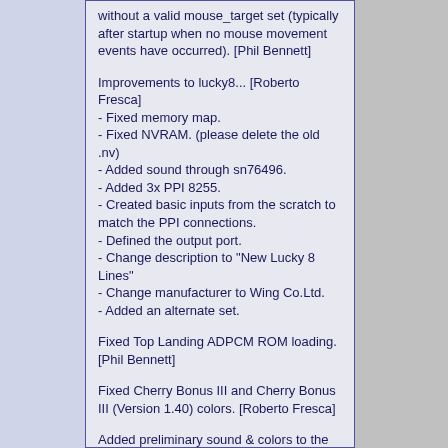without a valid mouse_target set (typically after startup when no mouse movement events have occurred). [Phil Bennett]
Improvements to lucky8... [Roberto Fresca]
- Fixed memory map.
- Fixed NVRAM. (please delete the old .nv)
- Added sound through sn76496.
- Added 3x PPI 8255.
- Created basic inputs from the scratch to match the PPI connections.
- Defined the output port.
- Change description to "New Lucky 8 Lines"
- Change manufacturer to Wing Co.Ltd.
- Added an alternate set.
Fixed Top Landing ADPCM ROM loading. [Phil Bennett]
Fixed Cherry Bonus III and Cherry Bonus III (Version 1.40) colors. [Roberto Fresca]
Added preliminary sound & colors to the Mahjong Shiyou driver, game now throws a sound error. Merged